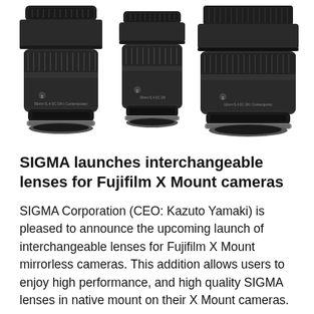[Figure (photo): Three Sigma camera lenses for Fujifilm X Mount displayed side by side: a wide lens on the left, a standard lens in the center, and a wide-angle lens with petal hood on the right. All lenses are black.]
SIGMA launches interchangeable lenses for Fujifilm X Mount cameras
SIGMA Corporation (CEO: Kazuto Yamaki) is pleased to announce the upcoming launch of interchangeable lenses for Fujifilm X Mount mirrorless cameras. This addition allows users to enjoy high performance, and high quality SIGMA lenses in native mount on their X Mount cameras.